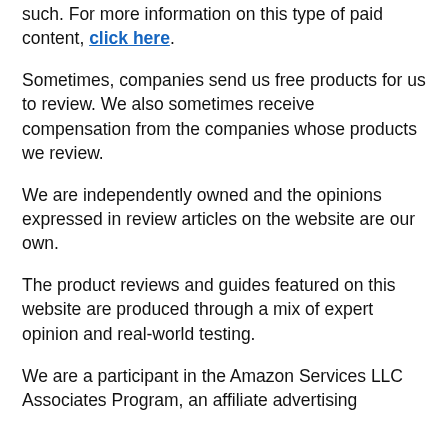such. For more information on this type of paid content, click here.
Sometimes, companies send us free products for us to review. We also sometimes receive compensation from the companies whose products we review.
We are independently owned and the opinions expressed in review articles on the website are our own.
The product reviews and guides featured on this website are produced through a mix of expert opinion and real-world testing.
We are a participant in the Amazon Services LLC Associates Program, an affiliate advertising